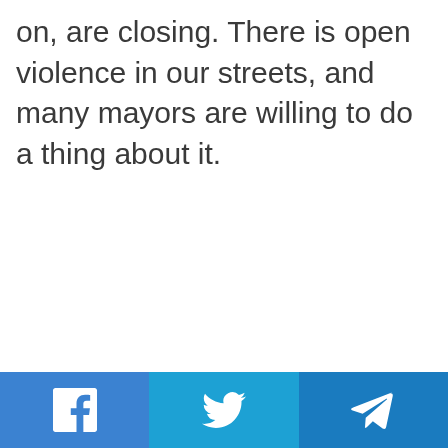on, are closing. There is open violence in our streets, and many mayors are willing to do a thing about it.
[Figure (other): Social sharing bar with Facebook, Twitter, and Telegram buttons]